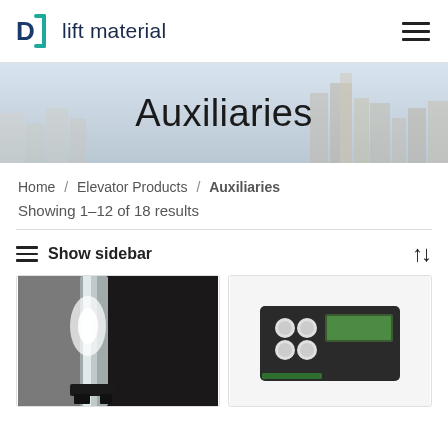D] lift material
[Figure (screenshot): Hero banner with city skyline background and 'Auxiliaries' title]
Auxiliaries
Home / Elevator Products / Auxiliaries
Showing 1–12 of 18 results
≡ Show sidebar
[Figure (photo): Left product card: vertical tube/rail with LED lighting in elevator shaft]
[Figure (photo): Right product card: black electronic controller device with LCD display and buttons]